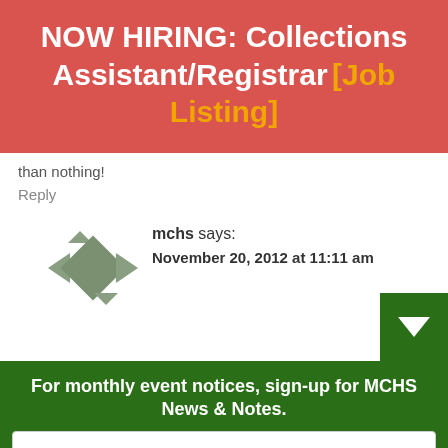NOW HIRING: Collections Assistant/Registrar [Job Listing]
than nothing!
Reply
[Figure (logo): MCHS logo: geometric diamond/arrow shapes in olive/grey green]
mchs says:
November 20, 2012 at 11:11 am
For monthly event notices, sign-up for MCHS News & Notes.
Your email address..
SUBSCRIBE